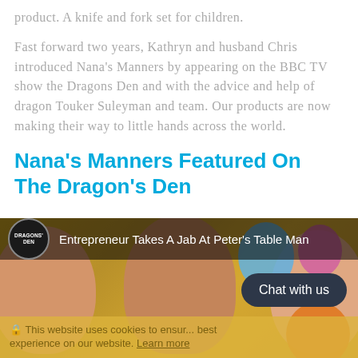product. A knife and fork set for children.
Fast forward two years, Kathryn and husband Chris introduced Nana’s Manners by appearing on the BBC TV show the Dragons Den and with the advice and help of dragon Touker Suleyman and team. Our products are now making their way to little hands across the world.
Nana’s Manners Featured On The Dragon’s Den
[Figure (screenshot): Screenshot of a Dragons Den video clip showing 'Entrepreneur Takes A Jab At Peter's Table Man...' with a group of people visible in the thumbnail. Overlaid is a 'Chat with us' dark button and a cookie consent bar at the bottom reading 'This website uses cookies to ensure...best experience on our website. Learn more']